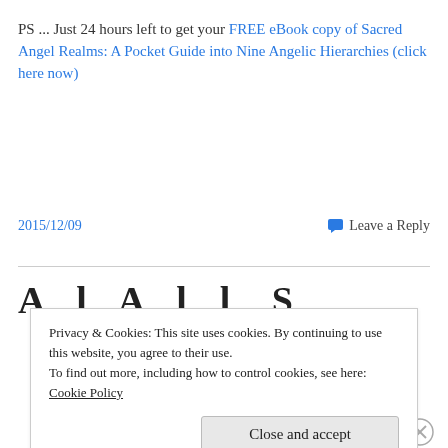PS ... Just 24 hours left to get your FREE eBook copy of Sacred Angel Realms: A Pocket Guide into Nine Angelic Hierarchies (click here now)
2015/12/09
Leave a Reply
Privacy & Cookies: This site uses cookies. By continuing to use this website, you agree to their use.
To find out more, including how to control cookies, see here: Cookie Policy
Close and accept